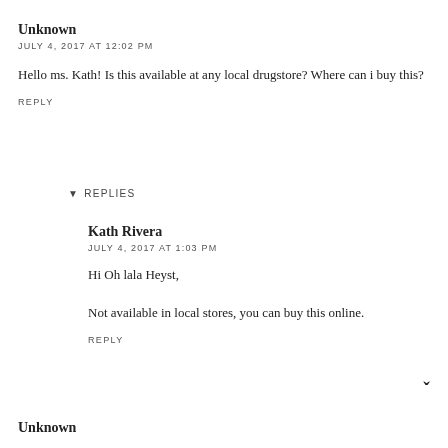Unknown
JULY 4, 2017 AT 12:02 PM
Hello ms. Kath! Is this available at any local drugstore? Where can i buy this?
REPLY
▾ REPLIES
Kath Rivera
JULY 4, 2017 AT 1:03 PM
Hi Oh lala Heyst,
Not available in local stores, you can buy this online.
REPLY
Unknown